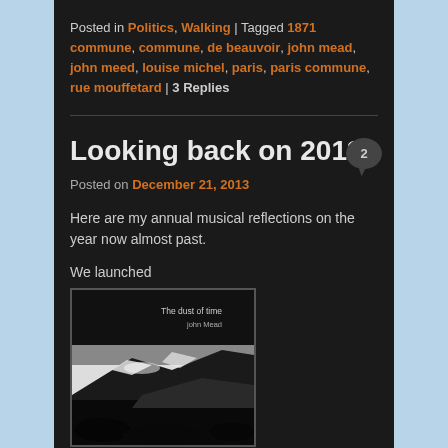Posted in Politics, Walking | Tagged 1871 commune, commune, de beauvoir, john mead, john mead, louise michel, paris, paris commune, rue mouffetard | 3 Replies
Looking back on 2013
Posted on December 21, 2013
Here are my annual musical reflections on the year now almost past.
We launched
[Figure (photo): Book cover for 'The dust of time' by John Mead, showing a black and white landscape image with rocky cliffs and snow.]